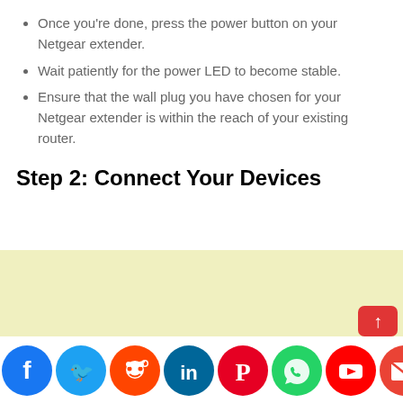Once you're done, press the power button on your Netgear extender.
Wait patiently for the power LED to become stable.
Ensure that the wall plug you have chosen for your Netgear extender is within the reach of your existing router.
Step 2: Connect Your Devices
[Figure (other): Yellow/cream colored advertisement banner area]
[Figure (infographic): Row of social media icon circles at the bottom: Facebook, Twitter, Reddit, LinkedIn, Pinterest, WhatsApp, YouTube, Gmail, Instagram, Messenger, Yahoo]